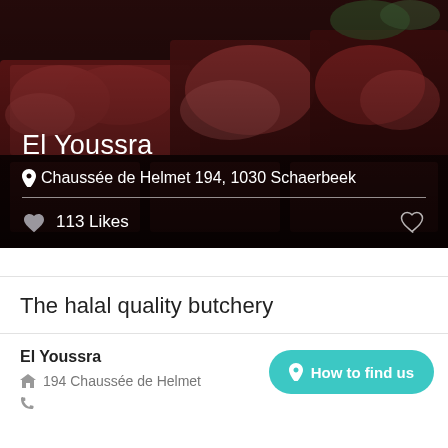[Figure (photo): Hero image of a butcher display with raw meat cuts in trays, overlaid with a dark gradient and white text showing business name, address, likes count.]
El Youssra
Chaussée de Helmet 194, 1030 Schaerbeek
113 Likes
The halal quality butchery
El Youssra
194 Chaussée de Helmet
How to find us